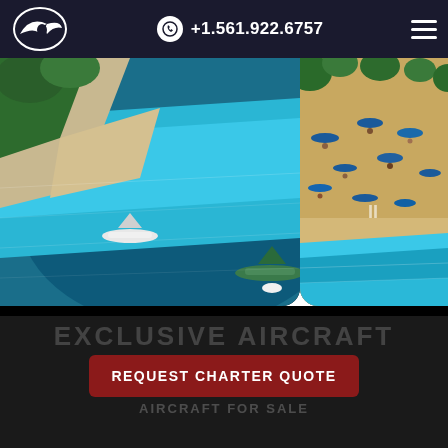+1.561.922.6757
[Figure (photo): Aerial view of tropical beach with turquoise water and boats (left panel)]
[Figure (photo): Aerial view of sandy beach with umbrellas and people (right panel)]
BACK TO TOP
EXCLUSIVE AIRCRAFT
REQUEST CHARTER QUOTE
AIRCRAFT FOR SALE